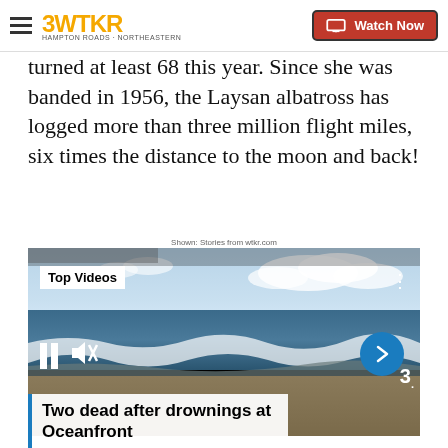3WTKR | Watch Now
turned at least 68 this year. Since she was banded in 1956, the Laysan albatross has logged more than three million flight miles, six times the distance to the moon and back!
Shown: Stories from wtkr.com
[Figure (screenshot): Video player showing a beach scene with waves. Overlays include 'Top Videos' label, three-dot menu, pause button, mute button, next arrow button, channel bug '3', and a title card reading 'Two dead after drownings at Oceanfront'.]